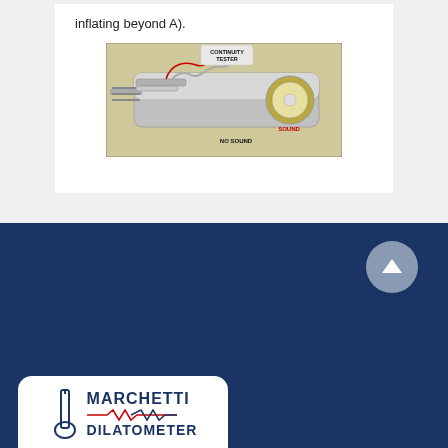inflating beyond A).
[Figure (photo): Photo of a flat dilatometer blade instrument with metallic body, showing a continuity tester label at the top and labels 'NO SOUND' and 'SOUND' indicating the membrane contact positions.]
[Figure (logo): Marchetti Dilatometer logo with waveform graphic on a white rounded rectangle background set against a dark navy blue footer.]